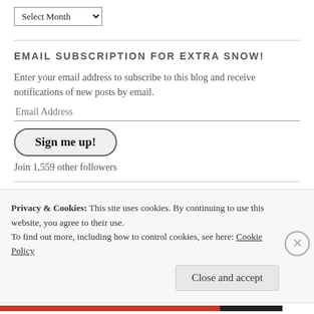Select Month
EMAIL SUBSCRIPTION FOR EXTRA SNOW!
Enter your email address to subscribe to this blog and receive notifications of new posts by email.
Email Address
Sign me up!
Join 1,559 other followers
TYPES OF SNOW (CATEGORIES)
Privacy & Cookies: This site uses cookies. By continuing to use this website, you agree to their use.
To find out more, including how to control cookies, see here: Cookie Policy
Close and accept